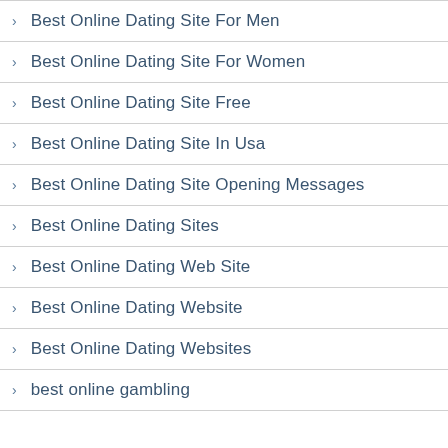Best Online Dating Site For Men
Best Online Dating Site For Women
Best Online Dating Site Free
Best Online Dating Site In Usa
Best Online Dating Site Opening Messages
Best Online Dating Sites
Best Online Dating Web Site
Best Online Dating Website
Best Online Dating Websites
best online gambling